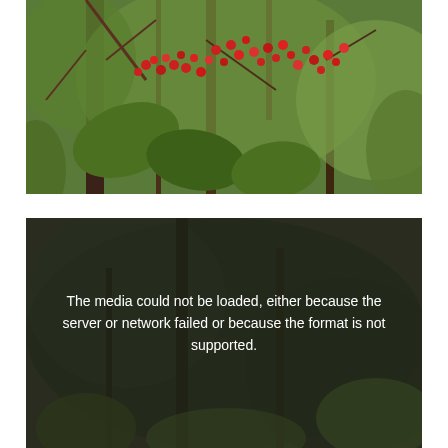[Figure (photo): Photograph of a plant with red berries and green leaves against a backdrop of trees and branches in a forest or garden setting.]
[Figure (photo): A second media element that failed to load, showing a dark forest/tree background with an error message overlay: 'The media could not be loaded, either because the server or network failed or because the format is not supported.']